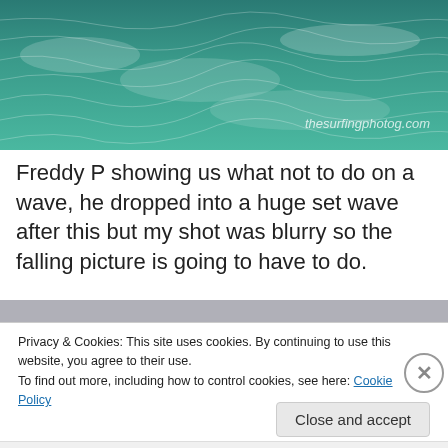[Figure (photo): Aerial or close-up photo of ocean wave surface with teal/green water and white foam, with watermark 'thesurfingphotog.com' in bottom right]
Freddy P showing us what not to do on a wave, he dropped into a huge set wave after this but my shot was blurry so the falling picture is going to have to do.
Privacy & Cookies: This site uses cookies. By continuing to use this website, you agree to their use.
To find out more, including how to control cookies, see here: Cookie Policy
Close and accept